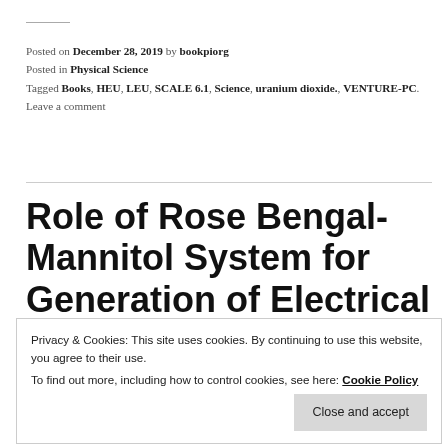Posted on December 28, 2019 by bookpiorg
Posted in Physical Science
Tagged Books, HEU, LEU, SCALE 6.1, Science, uranium dioxide., VENTURE-PC.
Leave a comment
Role of Rose Bengal-Mannitol System for Generation of Electrical
Privacy & Cookies: This site uses cookies. By continuing to use this website, you agree to their use.
To find out more, including how to control cookies, see here: Cookie Policy
Close and accept